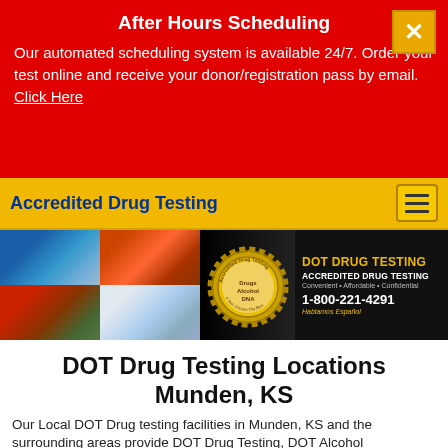After Hours Scheduling
Our automated scheduling system is available 24/7. Order your test online and receive your donor/registration pass by email. Click Here
Accredited Drug Testing
[Figure (infographic): Hero banner with photos of ship, train, truck, airplane, Accredited Drug Testing gold seal, and text: DOT DRUG TESTING, ACCREDITED DRUG TESTING, Convenient • Affordable • Confidential, 1-800-221-4291, Hablamos Español]
DOT Drug Testing Locations Munden, KS
Our Local DOT Drug testing facilities in Munden, KS and the surrounding areas provide DOT Drug Testing, DOT Alcohol